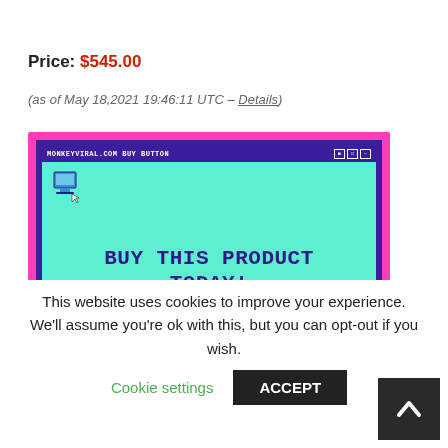Price: $545.00
(as of May 18,2021 19:46:11 UTC – Details)
[Figure (screenshot): Retro-style browser window screenshot with pink and dark purple border showing 'MONKEYVIRAL.COM BUY BUTTON' in title bar and 'BUY THIS PRODUCT TODAY! From our website to your home!' on teal background]
This website uses cookies to improve your experience. We'll assume you're ok with this, but you can opt-out if you wish.
Cookie settings
ACCEPT